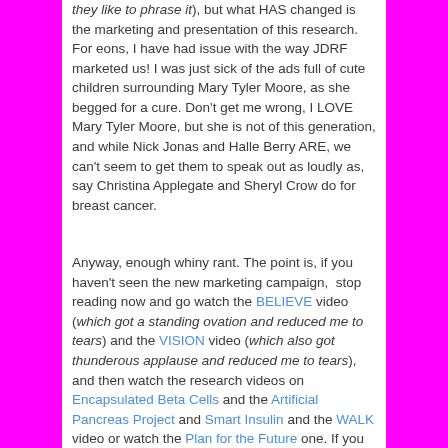they like to phrase it), but what HAS changed is the marketing and presentation of this research. For eons, I have had issue with the way JDRF marketed us! I was just sick of the ads full of cute children surrounding Mary Tyler Moore, as she begged for a cure. Don't get me wrong, I LOVE Mary Tyler Moore, but she is not of this generation, and while Nick Jonas and Halle Berry ARE, we can't seem to get them to speak out as loudly as, say Christina Applegate and Sheryl Crow do for breast cancer.
Anyway, enough whiny rant. The point is, if you haven't seen the new marketing campaign,  stop reading now and go watch the BELIEVE video (which got a standing ovation and reduced me to tears) and the VISION video (which also got thunderous applause and reduced me to tears), and then watch the research videos on Encapsulated Beta Cells and the Artificial Pancreas Project and Smart Insulin and the WALK video or watch the Plan for the Future one. If you aren't moved by these, then you probably aren't really T1D!